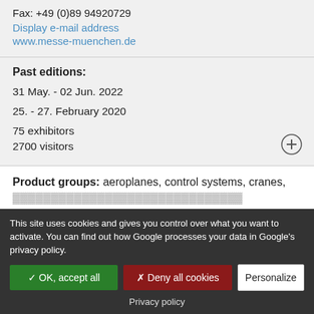Fax: +49 (0)89 94920729
Display e-mail address
www.messe-muenchen.de
Past editions:
31 May. - 02 Jun. 2022
25. - 27. February 2020
75 exhibitors
2700 visitors
Product groups: aeroplanes, control systems, cranes,
This site uses cookies and gives you control over what you want to activate. You can find out how Google processes your data in Google's privacy policy.
✓ OK, accept all
✗ Deny all cookies
Personalize
Privacy policy